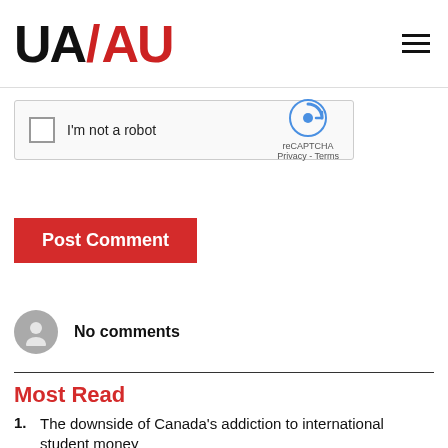UA/AU
[Figure (screenshot): reCAPTCHA widget with checkbox 'I'm not a robot' and reCAPTCHA logo with Privacy - Terms text]
Post Comment
No comments
Most Read
The downside of Canada's addiction to international student money
New 'disconnecting from work' policies aren't enough to tackle the problem of work-life balance